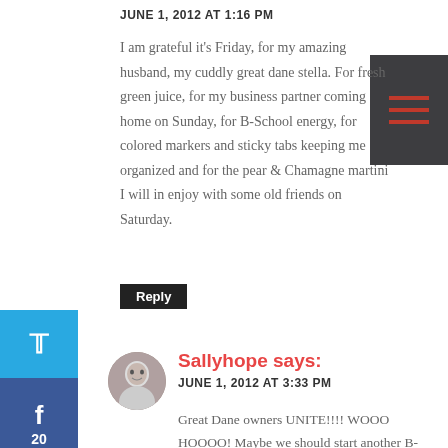JUNE 1, 2012 AT 1:16 PM
I am grateful it's Friday, for my amazing husband, my cuddly great dane stella. For fresh green juice, for my business partner coming home on Sunday, for B-School energy, for colored markers and sticky tabs keeping me organized and for the pear & Chamagne martini I will in enjoy with some old friends on Saturday.
Reply
Sallyhope says:
JUNE 1, 2012 AT 3:33 PM
Great Dane owners UNITE!!!! WOOO HOOOO! Maybe we should start another B-School FB group where we share ridiculous pictures of our danes (cuz I KNOW you have as many as me). :)
Reply